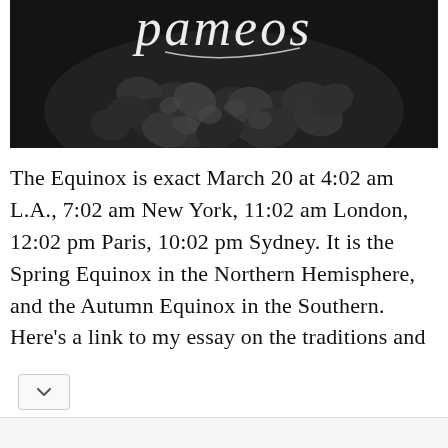[Figure (photo): Dark monochrome photograph of flower petals/leaves with a stylized cursive logo 'pameos' overlaid in white text at the top]
The Equinox is exact March 20 at 4:02 am L.A., 7:02 am New York, 11:02 am London, 12:02 pm Paris, 10:02 pm Sydney. It is the Spring Equinox in the Northern Hemisphere, and the Autumn Equinox in the Southern. Here's a link to my essay on the traditions and